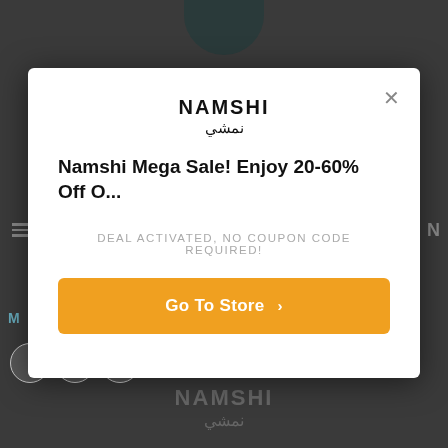[Figure (screenshot): Dark background website with Namshi logo and partial circle icon at top, menu icon on left, bottom icons]
NAMSHI / نمشي (modal logo)
Namshi Mega Sale! Enjoy 20-60% Off O...
DEAL ACTIVATED, NO COUPON CODE REQUIRED!
Go To Store ›